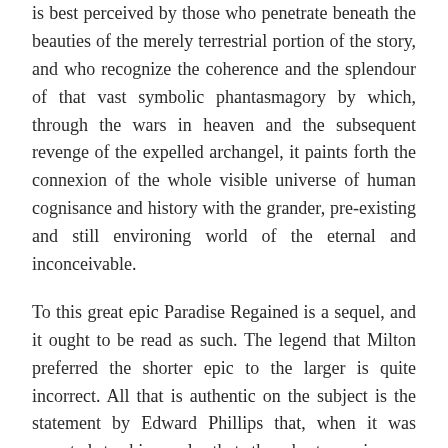is best perceived by those who penetrate beneath the beauties of the merely terrestrial portion of the story, and who recognize the coherence and the splendour of that vast symbolic phantasmagory by which, through the wars in heaven and the subsequent revenge of the expelled archangel, it paints forth the connexion of the whole visible universe of human cognisance and history with the grander, pre-existing and still environing world of the eternal and inconceivable.
To this great epic Paradise Regained is a sequel, and it ought to be read as such. The legend that Milton preferred the shorter epic to the larger is quite incorrect. All that is authentic on the subject is the statement by Edward Phillips that, when it was reported to his uncle that the shorter epic was “generally censured to be much inferior to the other,” he “could not hear with patience any such thing.” The best critical judgment now confirms Milton’s own, and pronounces Paradise Regained to be not only, within the possibilities of its briefer theme, a worthy sequel to Paradise Lost, but also one of the most artistically perfect poems in any